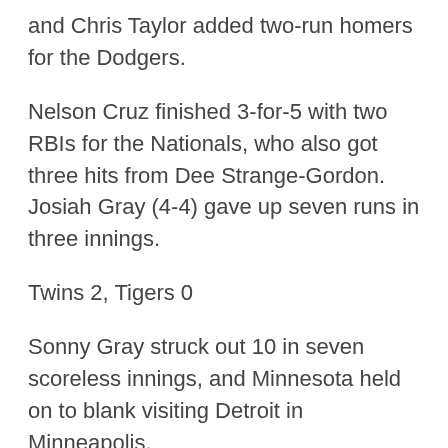and Chris Taylor added two-run homers for the Dodgers.
Nelson Cruz finished 3-for-5 with two RBIs for the Nationals, who also got three hits from Dee Strange-Gordon. Josiah Gray (4-4) gave up seven runs in three innings.
Twins 2, Tigers 0
Sonny Gray struck out 10 in seven scoreless innings, and Minnesota held on to blank visiting Detroit in Minneapolis.
Gio Urshela and Carlos Correa notched